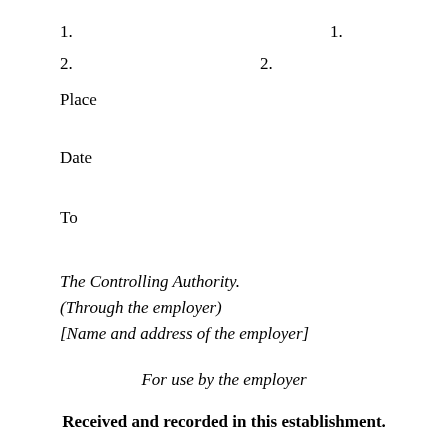1.                                                    1.
2.                              2.
Place
Date
To
The Controlling Authority.
(Through the employer)
[Name and address of the employer]
For use by the employer
Received and recorded in this establishment.